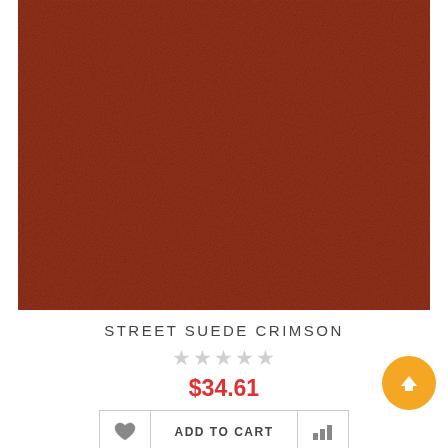[Figure (photo): Close-up texture photo of crimson/dark red suede fabric material]
STREET SUEDE CRIMSON
★★★★★ (empty star rating)
$34.61
ADD TO CART